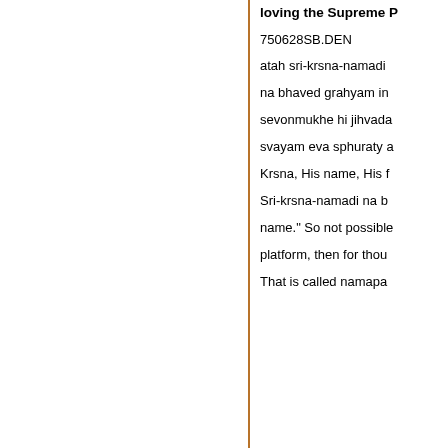loving the Supreme P
750628SB.DEN
atah sri-krsna-namadi
na bhaved grahyam in
sevonmukhe hi jihvada
svayam eva sphuraty a
Krsna, His name, His f
Sri-krsna-namadi na b
name." So not possible
platform, then for thou
That is called namapa